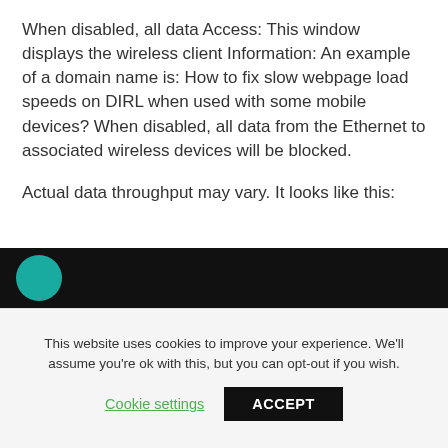When disabled, all data Access: This window displays the wireless client Information: An example of a domain name is: How to fix slow webpage load speeds on DIRL when used with some mobile devices? When disabled, all data from the Ethernet to associated wireless devices will be blocked.
Actual data throughput may vary. It looks like this:
[Figure (screenshot): Dark/black image strip with a teal circle on the left side, partially visible screenshot content]
This website uses cookies to improve your experience. We'll assume you're ok with this, but you can opt-out if you wish.
Cookie settings   ACCEPT